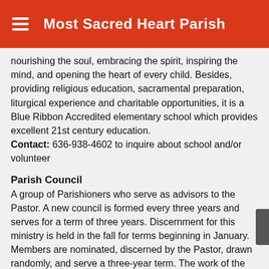Most Sacred Heart Parish
nourishing the soul, embracing the spirit, inspiring the mind, and opening the heart of every child. Besides, providing religious education, sacramental preparation, liturgical experience and charitable opportunities, it is a Blue Ribbon Accredited elementary school which provides excellent 21st century education. Contact: 636-938-4602 to inquire about school and/or volunteer
Parish Council
A group of Parishioners who serve as advisors to the Pastor. A new council is formed every three years and serves for a term of three years. Discernment for this ministry is held in the fall for terms beginning in January. Members are nominated, discerned by the Pastor, drawn randomly, and serve a three-year term. The work of the Council includes – serve as a sounding board for the Pastor; discern the direction of the parish; review/approve new events for the parish; assist the Pastor in establishing policy for the parish; review/approve functions that also